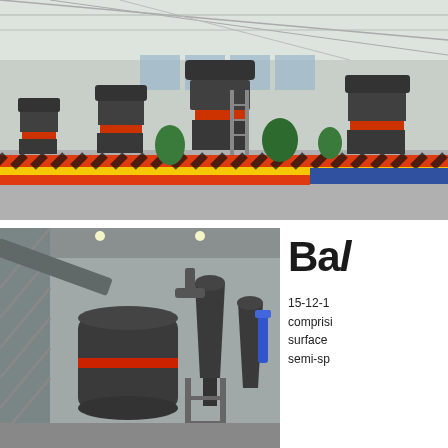[Figure (photo): Industrial factory floor showing multiple large grey and orange cone crusher machines arranged in a row, with yellow and orange striped safety borders and blue platforms. Bright industrial hall with steel truss roof.]
[Figure (photo): Close-up of industrial grinding mill equipment — a large dark grey cylindrical ball mill with red stripe and associated cyclone separator, inside an industrial building with steel framework and conveyor belts.]
Bal
15-12-1
comprising
surface
semi-sp